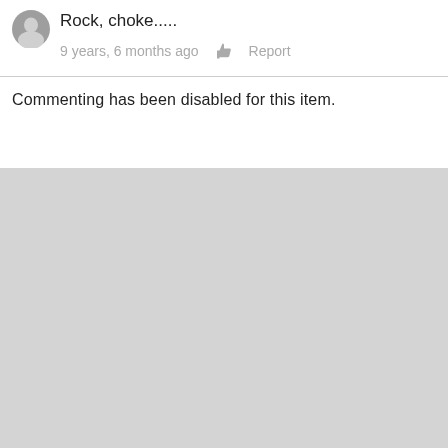Rock, choke.....
9 years, 6 months ago   👍   Report
Commenting has been disabled for this item.